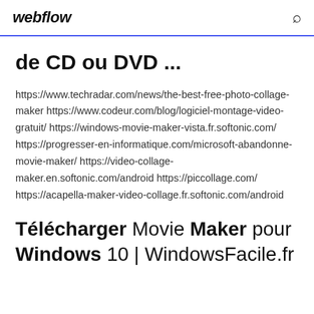webflow
de CD ou DVD ...
https://www.techradar.com/news/the-best-free-photo-collage-maker https://www.codeur.com/blog/logiciel-montage-video-gratuit/ https://windows-movie-maker-vista.fr.softonic.com/ https://progresser-en-informatique.com/microsoft-abandonne-movie-maker/ https://video-collage-maker.en.softonic.com/android https://piccollage.com/ https://acapella-maker-video-collage.fr.softonic.com/android
Télécharger Movie Maker pour Windows 10 | WindowsFacile.fr